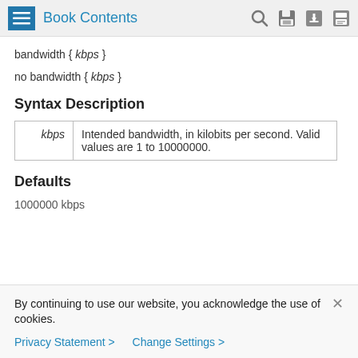Book Contents
Syntax Description
|  |  |
| --- | --- |
| kbps | Intended bandwidth, in kilobits per second. Valid values are 1 to 10000000. |
Defaults
1000000 kbps
By continuing to use our website, you acknowledge the use of cookies.
Privacy Statement > Change Settings >